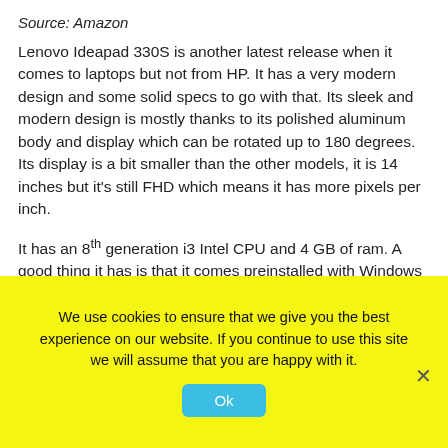Source: Amazon
Lenovo Ideapad 330S is another latest release when it comes to laptops but not from HP. It has a very modern design and some solid specs to go with that. Its sleek and modern design is mostly thanks to its polished aluminum body and display which can be rotated up to 180 degrees. Its display is a bit smaller than the other models, it is 14 inches but it's still FHD which means it has more pixels per inch.
It has an 8th generation i3 Intel CPU and 4 GB of ram. A good thing it has is that it comes preinstalled with Windows 10, so you don't have to waste your money and time on that.
We use cookies to ensure that we give you the best experience on our website. If you continue to use this site we will assume that you are happy with it.